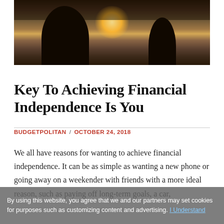[Figure (photo): Two silhouetted figures standing with a glowing sunset or sunrise behind them over a body of water.]
Key To Achieving Financial Independence Is You
BUDGETPOLITAN / OCTOBER 24, 2018
We all have reasons for wanting to achieve financial independence. It can be as simple as wanting a new phone or going away on a weekender with friends with a more ideal reason, such as paying off long-term goals, a car,
By using this website, you agree that we and our partners may set cookies for purposes such as customizing content and advertising. I Understand